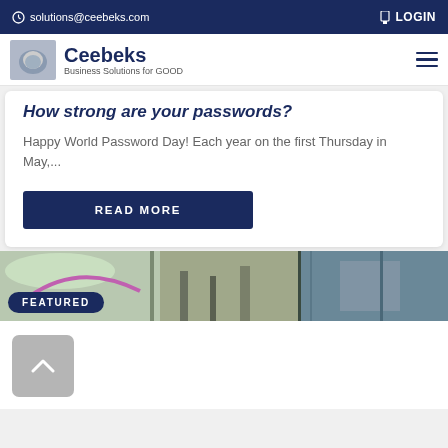solutions@ceebeks.com   LOGIN
[Figure (logo): Ceebeks logo with hands image and tagline 'Business Solutions for GOOD']
How strong are your passwords?
Happy World Password Day! Each year on the first Thursday in May,...
READ MORE
[Figure (photo): Featured strip image showing outdoor scene]
FEATURED